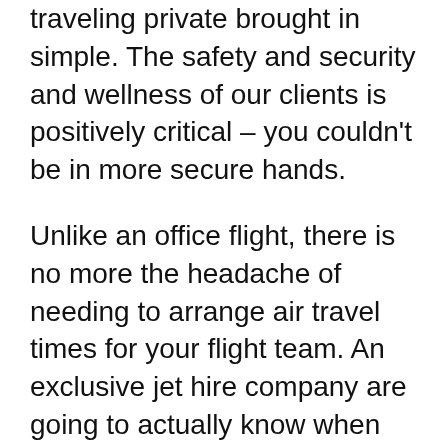traveling private brought in simple. The safety and security and wellness of our clients is positively critical – you couldn't be in more secure hands.
Unlike an office flight, there is no more the headache of needing to arrange air travel times for your flight team. An exclusive jet hire company are going to actually know when they may expect to land at the airport therefore there is no demand to fret about these factors. As well as this, the staff will certainly usually be actually comprised of flies who have presently been actually trained to take flight and finish numerous kinds of flights, conserving you time and money. You will likewise minimize energy expenses and also staying clear of any